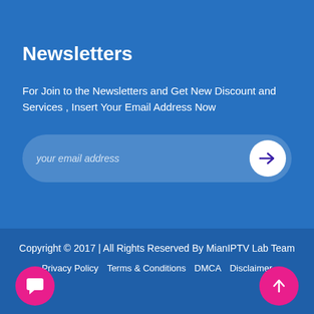Newsletters
For Join to the Newsletters and Get New Discount and Services , Insert Your Email Address Now
your email address
Copyright © 2017 | All Rights Reserved By MianIPTV Lab Team
Privacy Policy   Terms & Conditions   DMCA   Disclaimer